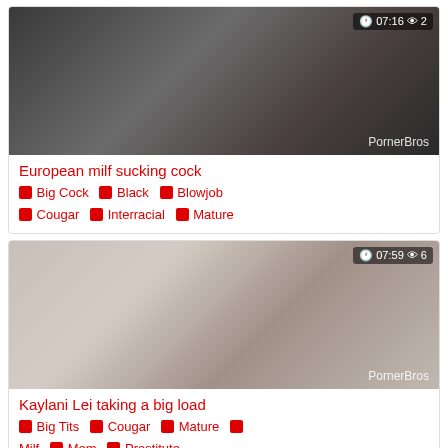[Figure (photo): Video thumbnail: European milf sucking cock. Duration 07:16, 2 views. Watermark: PornerBros]
European milf sucking cock
🏷 Big Cock 🏷 Black 🏷 Blowjob 🏷 Cougar 🏷 Interracial 🏷 Mature
[Figure (photo): Video thumbnail: Kaylani Lei taking a big load. Duration 07:59, 6 views. Watermark: PornerBros]
Kaylani Lei taking a big load
🏷 Big Tits 🏷 Cougar 🏷 Mature 🏷 Milf 🏷 Mom 🏷 Prostitute
[Figure (photo): Partial video thumbnail (cut off at bottom of page)]